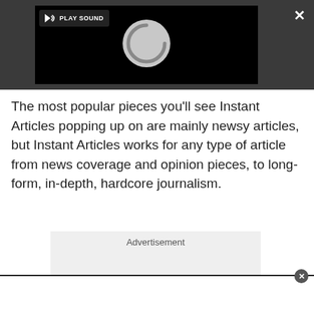[Figure (screenshot): A dark grey toolbar area containing a video player with a black background showing a circular loading spinner and a 'PLAY SOUND' button in the top left. A white X close button is in the top right corner and an expand arrows icon is in the bottom right of the toolbar.]
The most popular pieces you'll see Instant Articles popping up on are mainly newsy articles, but Instant Articles works for any type of article from news coverage and opinion pieces, to long-form, in-depth, hardcore journalism.
Advertisement